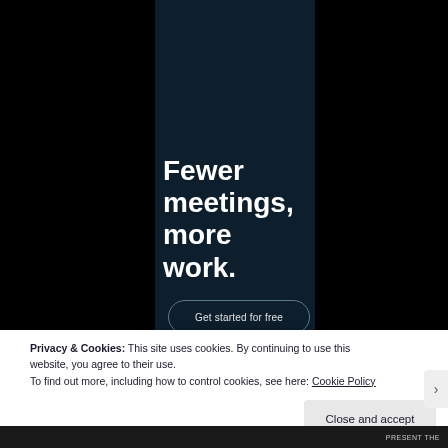[Figure (screenshot): Website screenshot showing a dark navy center panel with bold white headline text 'Fewer meetings, more work.' on a black background, with a 'Get started for free' CTA button]
Fewer meetings, more work.
Get started for free
Privacy & Cookies: This site uses cookies. By continuing to use this website, you agree to their use.
To find out more, including how to control cookies, see here: Cookie Policy
Close and accept